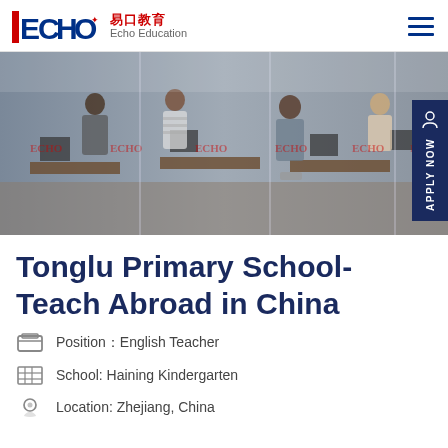ECHO 易口教育 Echo Education
[Figure (photo): Office workspace with multiple people working at desks with computers, watermarked with ECHO logo repeated across the image]
Tonglu Primary School-Teach Abroad in China
Position：English Teacher
School: Haining Kindergarten
Location: Zhejiang, China